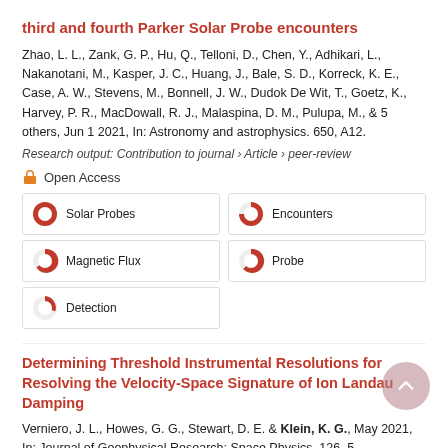third and fourth Parker Solar Probe encounters
Zhao, L. L., Zank, G. P., Hu, Q., Telloni, D., Chen, Y., Adhikari, L., Nakanotani, M., Kasper, J. C., Huang, J., Bale, S. D., Korreck, K. E., Case, A. W., Stevens, M., Bonnell, J. W., Dudok De Wit, T., Goetz, K., Harvey, P. R., MacDowall, R. J., Malaspina, D. M., Pulupa, M., & 5 others, Jun 1 2021, In: Astronomy and astrophysics. 650, A12.
Research output: Contribution to journal › Article › peer-review
Open Access
[Figure (infographic): Keyword relevance indicators with pie-chart style percentage circles: Solar Probes (100%), Encounters (~75%), Magnetic Flux (~60%), Probe (~55%), Detection (~35%)]
Determining Threshold Instrumental Resolutions for Resolving the Velocity-Space Signature of Ion Landau Damping
Verniero, J. L., Howes, G. G., Stewart, D. E. & Klein, K. G., May 2021, In: Journal of Geophysical Research: Space Physics. 126, 5